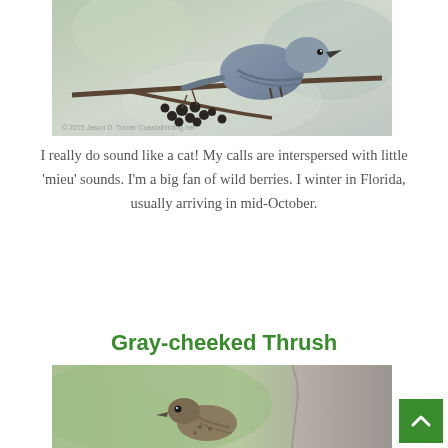[Figure (photo): A gray-blue bird (Gray Catbird) perched on a branch with dark dried berries, close-up nature photography with blurred background. Copyright watermark '© 2015 Jason D. Turner Coastalbirding.net']
I really do sound like a cat! My calls are interspersed with little ‘mieu’ sounds. I’m a big fan of wild berries. I winter in Florida, usually arriving in mid-October.
Gray-cheeked Thrush
[Figure (photo): A small brown thrush bird partially visible at the bottom of the page, photographed next to a tree trunk with a green blurred background.]